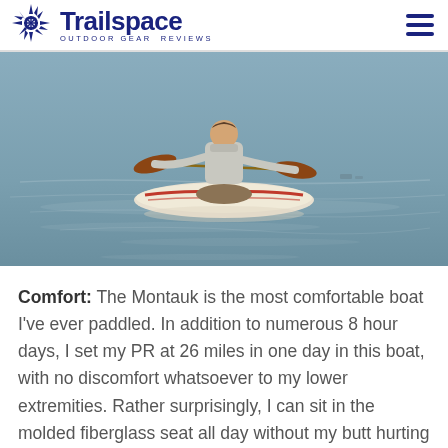Trailspace — Outdoor Gear Reviews
[Figure (photo): Person paddling a sea kayak on calm water, viewed from behind. The kayak is white/cream with red accents. The water is calm and reflective, appearing blue-grey.]
Comfort: The Montauk is the most comfortable boat I've ever paddled. In addition to numerous 8 hour days, I set my PR at 26 miles in one day in this boat, with no discomfort whatsoever to my lower extremities. Rather surprisingly, I can sit in the molded fiberglass seat all day without my butt hurting but my other kayak, with a padded seat, gives me bruises. I can't figure it out but it seems to ring true that